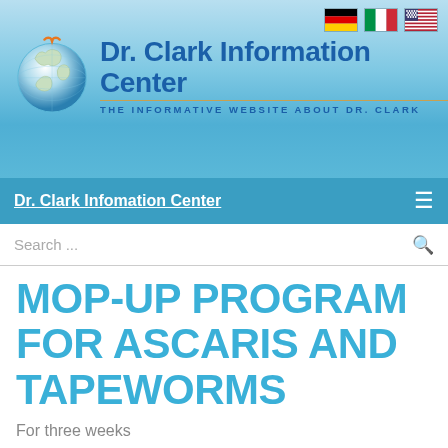[Figure (logo): Dr. Clark Information Center website header with globe logo, seagull bird, sky background, and German, Italian, US flag icons in top right]
Dr. Clark Infomation Center
Search ...
MOP-UP PROGRAM FOR ASCARIS AND TAPEWORMS
For three weeks
(add 5 drops Hcl 5% in the ozonated olive oil - this